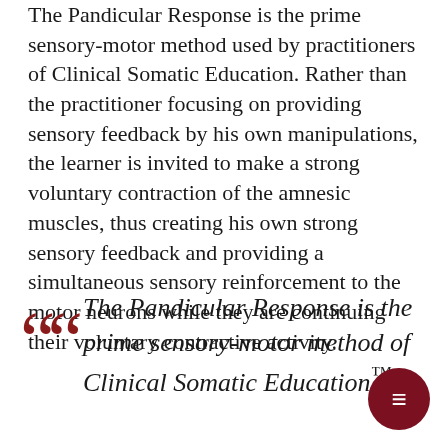The Pandicular Response is the prime sensory-motor method used by practitioners of Clinical Somatic Education. Rather than the practitioner focusing on providing sensory feedback by his own manipulations, the learner is invited to make a strong voluntary contraction of the amnesic muscles, thus creating his own strong sensory feedback and providing a simultaneous sensory reinforcement to the motor neurons while they are continuing their voluntary contractive activity.
The Pandicular Response is the prime sensory-motor method of Clinical Somatic Education™